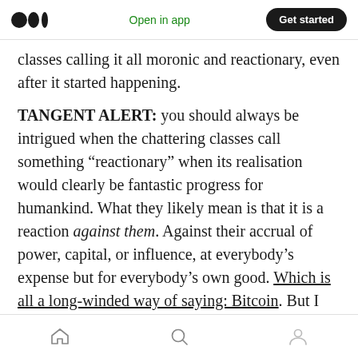Medium logo | Open in app | Get started
classes calling it all moronic and reactionary, even after it started happening.
TANGENT ALERT: you should always be intrigued when the chattering classes call something “reactionary” when its realisation would clearly be fantastic progress for humankind. What they likely mean is that it is a reaction against them. Against their accrual of power, capital, or influence, at everybody’s expense but for everybody’s own good. Which is all a long-winded way of saying: Bitcoin. But I digress
Home | Search | Profile